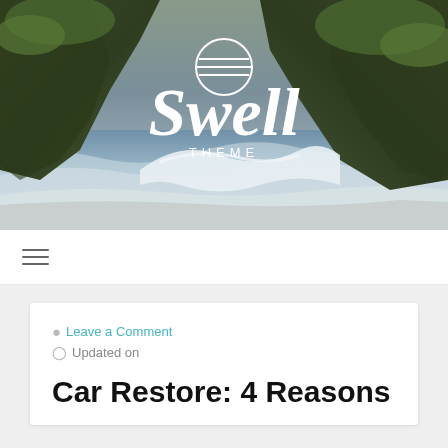[Figure (photo): Header image showing dramatic coastal rocks with green moss/vegetation, ocean waves crashing in the foreground, with the Swell Theme logo (a circle with horizontal lines and cursive 'Swell' text plus 'THEME' in caps) overlaid in white in the center.]
[Figure (other): Hamburger menu icon (three horizontal lines) in the navigation bar.]
Leave a Comment
Updated on
Car Restore: 4 Reasons